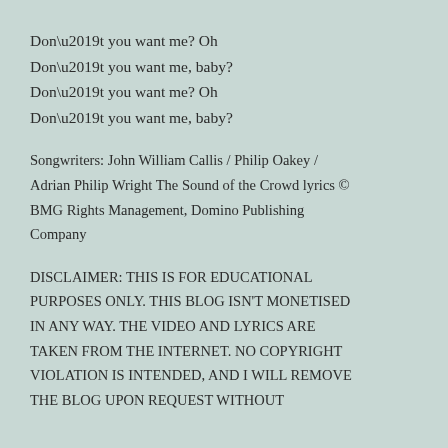Don’t you want me? Oh
Don’t you want me, baby?
Don’t you want me? Oh
Don’t you want me, baby?
Songwriters: John William Callis / Philip Oakey / Adrian Philip Wright The Sound of the Crowd lyrics © BMG Rights Management, Domino Publishing Company
DISCLAIMER: THIS IS FOR EDUCATIONAL PURPOSES ONLY. THIS BLOG ISN’T MONETISED IN ANY WAY. THE VIDEO AND LYRICS ARE TAKEN FROM THE INTERNET. NO COPYRIGHT VIOLATION IS INTENDED, AND I WILL REMOVE THE BLOG UPON REQUEST WITHOUT